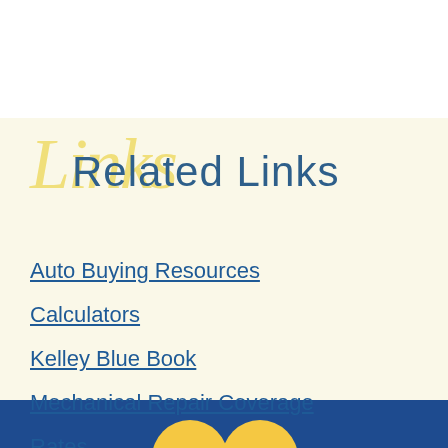Related Links
Auto Buying Resources
Calculators
Kelley Blue Book
Mechanical Repair Coverage
Rates